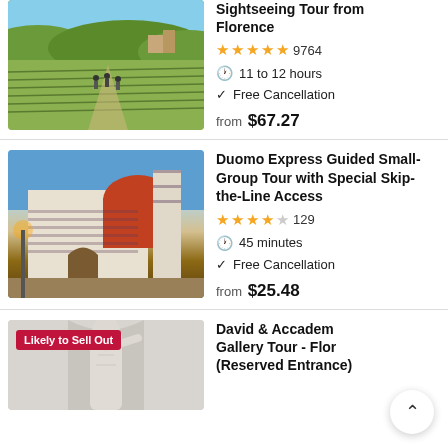[Figure (photo): Aerial view of Tuscan vineyard landscape with group of tourists walking along a dirt path]
Sightseeing Tour from Florence
★★★★★ 9764
11 to 12 hours
Free Cancellation
from $67.27
[Figure (photo): Wide-angle view of Florence Duomo cathedral exterior at dusk with ornate facade]
Duomo Express Guided Small-Group Tour with Special Skip-the-Line Access
★★★½☆ 129
45 minutes
Free Cancellation
from $25.48
[Figure (photo): Michelangelo's David statue in the Accademia Gallery, Florence, with Likely to Sell Out badge]
David & Accademia Gallery Tour - Florence (Reserved Entrance)